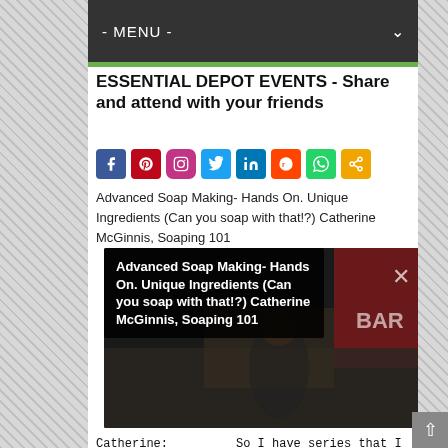- MENU -
ESSENTIAL DEPOT EVENTS - Share and attend with your friends
[Figure (infographic): Row of social media sharing icons: Facebook, Pinterest, Instagram, Twitter, LinkedIn, Reddit, WhatsApp, Share]
Advanced Soap Making- Hands On. Unique Ingredients (Can you soap with that!?) Catherine McGinnis, Soaping 101
[Figure (screenshot): Video thumbnail showing a woman at a table with soap products, overlaid with black caption box reading: Advanced Soap Making- Hands On. Unique Ingredients (Can you soap with that!?) Catherine McGinnis, Soaping 101]
Catherine:
Phyllis:
So I have series that I
It's like Vegemite ric